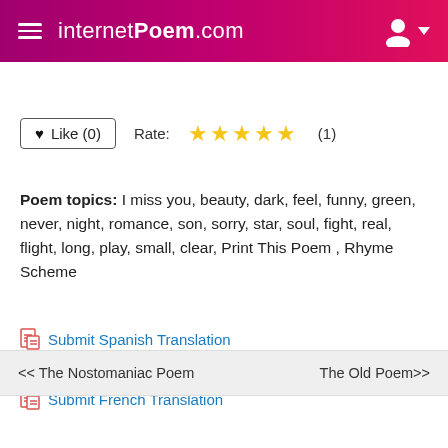internetPoem.com
Like (0)  Rate: ★★★★★ (1)
Poem topics: I miss you, beauty, dark, feel, funny, green, never, night, romance, son, sorry, star, soul, fight, real, flight, long, play, small, clear, Print This Poem , Rhyme Scheme
Submit Spanish Translation
Submit German Translation
Submit French Translation
<< The Nostomaniac Poem    The Old Poem>>